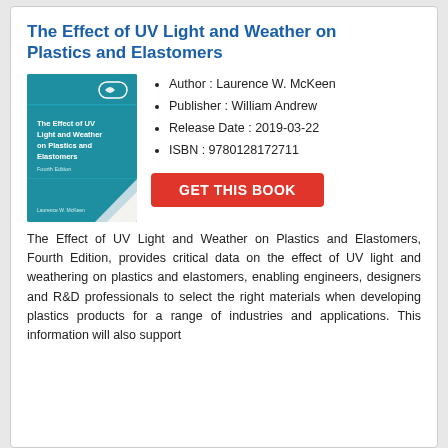The Effect of UV Light and Weather on Plastics and Elastomers
[Figure (illustration): Book cover of 'The Effect of UV Light and Weather on Plastics and Elastomers, Fourth Edition' with a teal/blue background and white text, by Laurence W. McKeen]
Author : Laurence W. McKeen
Publisher : William Andrew
Release Date : 2019-03-22
ISBN : 9780128172711
GET THIS BOOK
The Effect of UV Light and Weather on Plastics and Elastomers, Fourth Edition, provides critical data on the effect of UV light and weathering on plastics and elastomers, enabling engineers, designers and R&D professionals to select the right materials when developing plastics products for a range of industries and applications. This information will also support